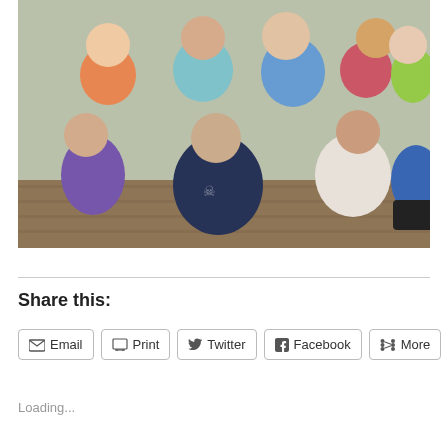[Figure (photo): Group photo of approximately 8 adults sitting and standing on what appears to be a porch or wooden deck. People are wearing colorful shirts (orange, blue, teal, pink, green, purple, navy). Some are seated on steps in the foreground, others standing behind.]
Share this:
Email  Print  Twitter  Facebook  More
Loading...